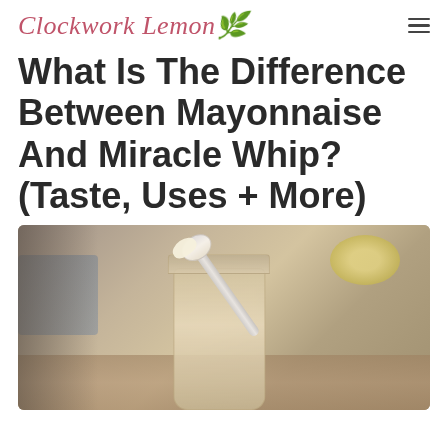Clockwork Lemon
What Is The Difference Between Mayonnaise And Miracle Whip? (Taste, Uses + More)
[Figure (photo): A glass jar filled with mayonnaise or a similar white creamy condiment, with a spoon scooping it out. Background shows a blurred wooden table surface with a small bowl and a grey cloth napkin.]